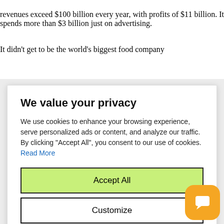revenues exceed $100 billion every year, with profits of $11 billion. It spends more than $3 billion just on advertising.
It didn't get to be the world's biggest food company
We value your privacy
We use cookies to enhance your browsing experience, serve personalized ads or content, and analyze our traffic. By clicking "Accept All", you consent to our use of cookies. Read More
Accept All
Customize
Reject All